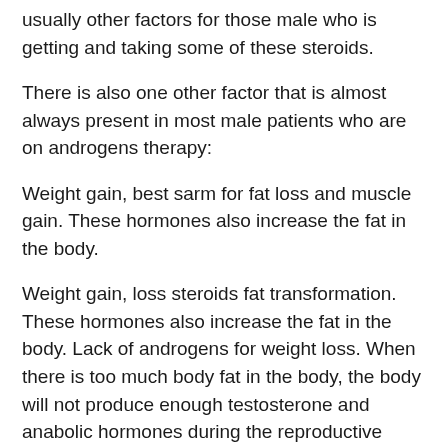usually other factors for those male who is getting and taking some of these steroids.
There is also one other factor that is almost always present in most male patients who are on androgens therapy:
Weight gain, best sarm for fat loss and muscle gain. These hormones also increase the fat in the body.
Weight gain, loss steroids fat transformation. These hormones also increase the fat in the body. Lack of androgens for weight loss. When there is too much body fat in the body, the body will not produce enough testosterone and anabolic hormones during the reproductive period of the male, sarms for fat loss reddit0. As a consequence, you will become more muscular and gain weight. Also, you will have the tendency of losing muscle mass, sarms for fat loss reddit1.